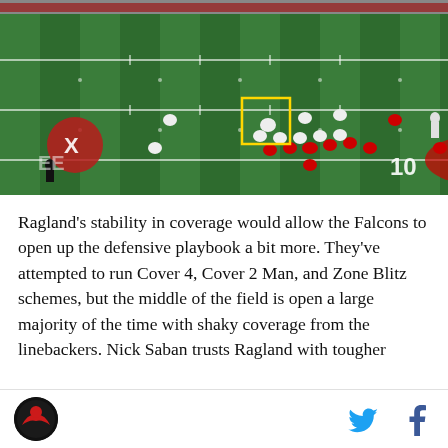[Figure (photo): Aerial broadcast view of an American football game in progress on a green field. Players in red (home team) and white (away team) uniforms are lined up at the line of scrimmage. A yellow rectangle highlights one player in white on the left side. The field shows yard line markings, hash marks, and a down-and-distance graphic reading '2ND & 14'. Team logos are visible in the end zone area.]
Ragland's stability in coverage would allow the Falcons to open up the defensive playbook a bit more. They've attempted to run Cover 4, Cover 2 Man, and Zone Blitz schemes, but the middle of the field is open a large majority of the time with shaky coverage from the linebackers. Nick Saban trusts Ragland with tougher
[Logo] [Twitter icon] [Facebook icon]